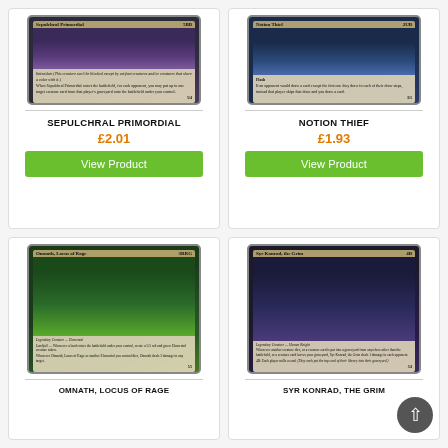[Figure (illustration): Magic: The Gathering card - Sepulchral Primordial, dark purple creature card with intimidate ability]
SEPULCHRAL PRIMORDIAL
£2.01
View Product
[Figure (illustration): Magic: The Gathering card - Notion Thief, blue card with Flash ability]
NOTION THIEF
£1.93
View Product
[Figure (illustration): Magic: The Gathering card - Omnath, Locus of Rage, green/red legendary elemental creature card]
OMNATH, LOCUS OF RAGE
[Figure (illustration): Magic: The Gathering card - Syr Konrad, the Grim, black legendary human knight card]
SYR KONRAD, THE GRIM